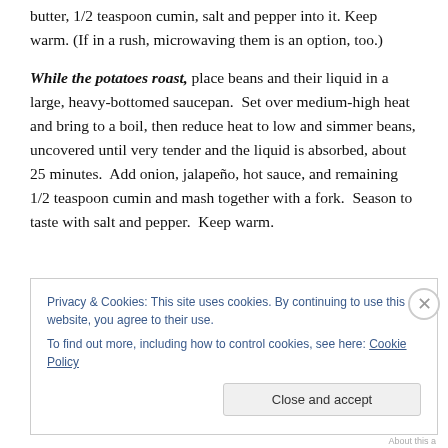butter, 1/2 teaspoon cumin, salt and pepper into it. Keep warm. (If in a rush, microwaving them is an option, too.)
While the potatoes roast, place beans and their liquid in a large, heavy-bottomed saucepan. Set over medium-high heat and bring to a boil, then reduce heat to low and simmer beans, uncovered until very tender and the liquid is absorbed, about 25 minutes. Add onion, jalapeño, hot sauce, and remaining 1/2 teaspoon cumin and mash together with a fork. Season to taste with salt and pepper. Keep warm.
Privacy & Cookies: This site uses cookies. By continuing to use this website, you agree to their use.
To find out more, including how to control cookies, see here: Cookie Policy